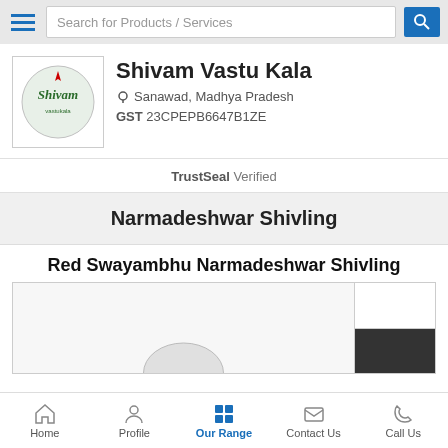Search for Products / Services
Shivam Vastu Kala
Sanawad, Madhya Pradesh
GST 23CPEPB6647B1ZE
TrustSeal Verified
Narmadeshwar Shivling
Red Swayambhu Narmadeshwar Shivling
[Figure (photo): Product image area showing Red Swayambhu Narmadeshwar Shivling with thumbnail strip on right]
Home | Profile | Our Range | Contact Us | Call Us